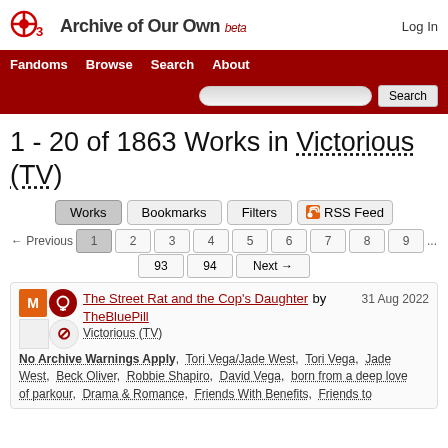Archive of Our Own beta
1 - 20 of 1863 Works in Victorious (TV)
Works | Bookmarks | Filters | RSS Feed
← Previous 1 2 3 4 5 6 7 8 9 ... 93 94 Next →
The Street Rat and the Cop's Daughter by TheBluePill — 31 Aug 2022
Victorious (TV)
No Archive Warnings Apply, Tori Vega/Jade West, Tori Vega, Jade West, Beck Oliver, Robbie Shapiro, David Vega, born from a deep love of parkour, Drama & Romance, Friends With Benefits, Friends to